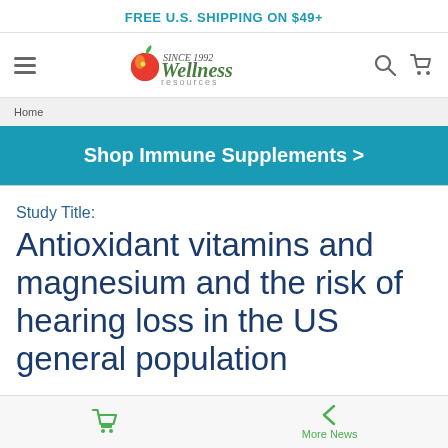FREE U.S. SHIPPING ON $49+
[Figure (logo): Wellness Resources logo with apple icon and script text]
Home
Shop Immune Supplements >
Study Title: Antioxidant vitamins and magnesium and the risk of hearing loss in the US general population
More News